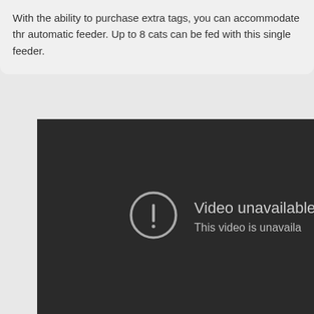With the ability to purchase extra tags, you can accommodate thr automatic feeder. Up to 8 cats can be fed with this single feeder.
[Figure (screenshot): A dark video player showing a 'Video unavailable' error message with a circle-exclamation icon and the text 'This video is unavaila...']